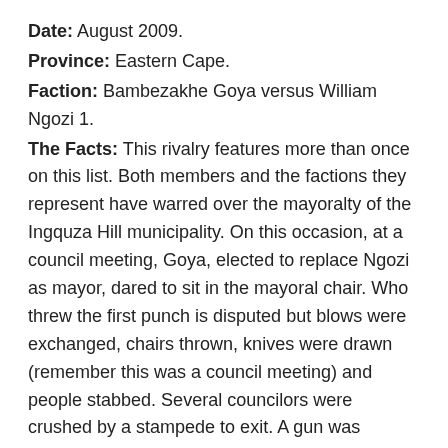Date: August 2009.
Province: Eastern Cape.
Faction: Bambezakhe Goya versus William Ngozi 1.
The Facts: This rivalry features more than once on this list. Both members and the factions they represent have warred over the mayoralty of the Ingquza Hill municipality. On this occasion, at a council meeting, Goya, elected to replace Ngozi as mayor, dared to sit in the mayoral chair. Who threw the first punch is disputed but blows were exchanged, chairs thrown, knives were drawn (remember this was a council meeting) and people stabbed. Several councilors were crushed by a stampede to exit. A gun was allegedly drawn. Goya later claimed Ngozi hit him over the head with a chair. He sustained a stab wound in this thigh requiring eight stitches. It was alleged the Speaker, Ms